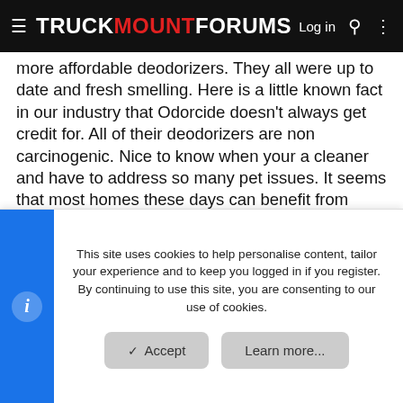TRUCKMOUNTFORUMS  Log in
more affordable deodorizers. They all were up to date and fresh smelling. Here is a little known fact in our industry that Odorcide doesn't always get credit for. All of their deodorizers are non carcinogenic. Nice to know when your a cleaner and have to address so many pet issues. It seems that most homes these days can benefit from deodorizers. It is my number one up sale to date with my cleaning company. We track all up sales. You should too. Lastly, the newest and I think coolest thing was the Reel Innovations dual independent electric vacuum reels. It really is an amazing feat considering reels have not changed much in our industry for the last 50 years. These reels are revolutionary as they are adjustable, take half the space, are available in awesome powder coated
This site uses cookies to help personalise content, tailor your experience and to keep you logged in if you register.
By continuing to use this site, you are consenting to our use of cookies.